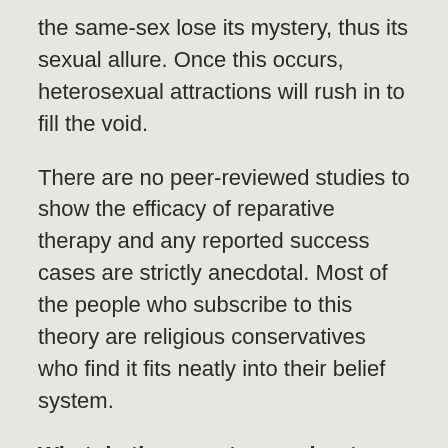the same-sex lose its mystery, thus its sexual allure. Once this occurs, heterosexual attractions will rush in to fill the void.
There are no peer-reviewed studies to show the efficacy of reparative therapy and any reported success cases are strictly anecdotal. Most of the people who subscribe to this theory are religious conservatives who find it fits neatly into their belief system.
What do the experts say about ex-gay therapy?
Every respected medical and mental health organization say that attempts to change sexual orientation are unlikely to work and can be harmful. The American Academy of Pediatrics, The American Counseling Association, The American Psychological Association, National Association of Social Workers